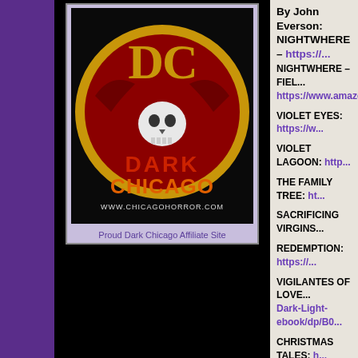[Figure (logo): Dark Chicago horror website logo — circular red/yellow design with skull and 'Dark Chicago' text, www.chicagohorror.com]
Proud Dark Chicago Affiliate Site
By John Everson:
NIGHTWHERE – https://...
NIGHTWHERE – FIEL... https://www.amazon.co...
VIOLET EYES: https://w...
VIOLET LAGOON: http...
THE FAMILY TREE: ht...
SACRIFICING VIRGINS...
REDEMPTION: https://...
VIGILANTES OF LOVE... Dark-Light-ebook/dp/B0...
CHRISTMAS TALES: h...